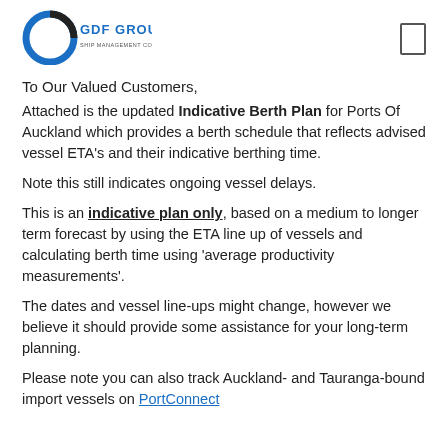[Figure (logo): GDF Group logo with circular blue icon and company name text]
To Our Valued Customers,
Attached is the updated Indicative Berth Plan for Ports Of Auckland which provides a berth schedule that reflects advised vessel ETA's and their indicative berthing time.
Note this still indicates ongoing vessel delays.
This is an indicative plan only, based on a medium to longer term forecast by using the ETA line up of vessels and calculating berth time using 'average productivity measurements'.
The dates and vessel line-ups might change, however we believe it should provide some assistance for your long-term planning.
Please note you can also track Auckland- and Tauranga-bound import vessels on PortConnect.